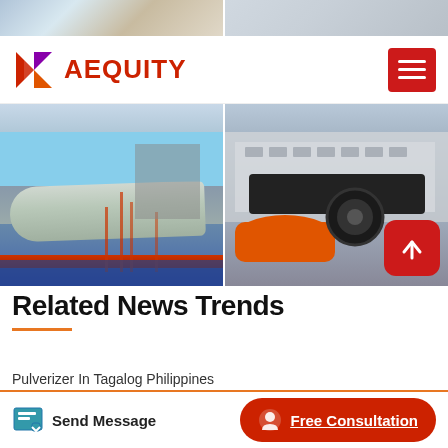[Figure (photo): Top image strip showing industrial equipment - two side-by-side partial photos]
[Figure (logo): AEQUITY company logo with geometric red/purple diamond icon and red text]
[Figure (photo): Two side-by-side photos of industrial rotary drum equipment - one grey drum at a facility, one orange and black drum/kiln]
Related News Trends
Pulverizer In Tagalog Philippines
[Figure (other): Bottom action bar with Send Message and Free Consultation buttons]